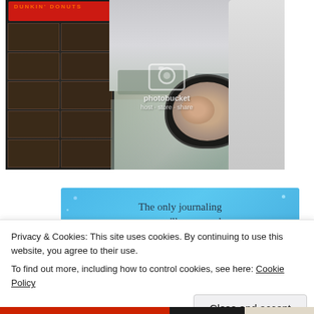[Figure (photo): Photograph taken from inside a car at a Dunkin' Donuts drive-through. Shows the menu board on the left with the Dunkin' Donuts logo, a parking lot and overcast sky in the background, a side-view mirror reflection showing a person's face, and a gray hoodie sleeve visible on the right. A Photobucket watermark is overlaid on the image.]
[Figure (screenshot): Blue advertisement banner for a journaling app reading 'The only journaling app you'll ever need.']
Privacy & Cookies: This site uses cookies. By continuing to use this website, you agree to their use.
To find out more, including how to control cookies, see here: Cookie Policy